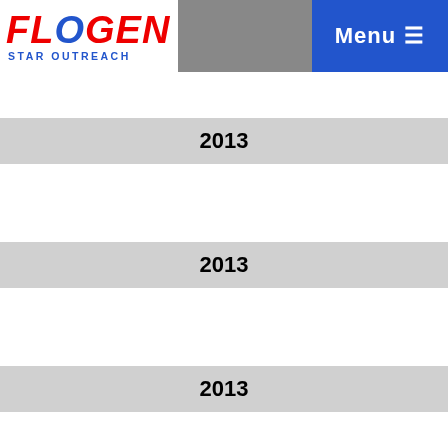FLOGEN STAR OUTREACH | Menu
2013
2013
2013
2012